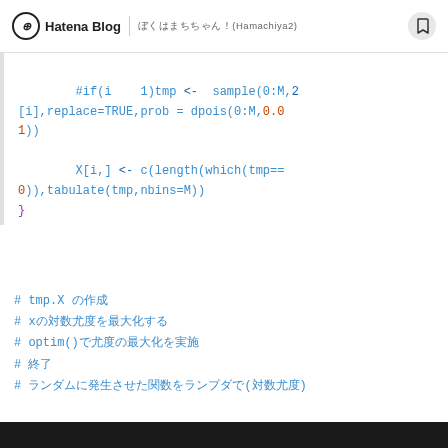Hatena Blog | ぼくはまちちゃん！(Hamachiya2)
#if(i == 1)tmp <- sample(0:M,2[i],replace=TRUE,prob = dpois(0:M,0.01))
        X[i,] <- c(length(which(tmp==0)),tabulate(tmp,nbins=M))
}
# tmp.X の作成
# xの対数尤度を最大化する
# optim()で尤度の最大化を実施
# 終了
# ランダムに発生させた関数をランプダで(対数尤度)